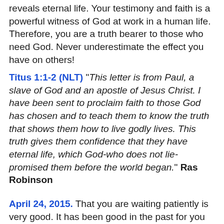reveals eternal life. Your testimony and faith is a powerful witness of God at work in a human life. Therefore, you are a truth bearer to those who need God. Never underestimate the effect you have on others!
Titus 1:1-2 (NLT) "This letter is from Paul, a slave of God and an apostle of Jesus Christ. I have been sent to proclaim faith to those God has chosen and to teach them to know the truth that shows them how to live godly lives. This truth gives them confidence that they have eternal life, which God-who does not lie-promised them before the world began." Ras Robinson
April 24, 2015. That you are waiting patiently is very good. It has been good in the past for you to stay in a peaceful frame of mind as you waited. You've not gone ahead as your flesh wanted. Now blessings will pour in. Not at a breakneck speed, but at just the speed your needs and wants desire. I know at times it has not been easy. But at other times it was strangely pleasant. This has been